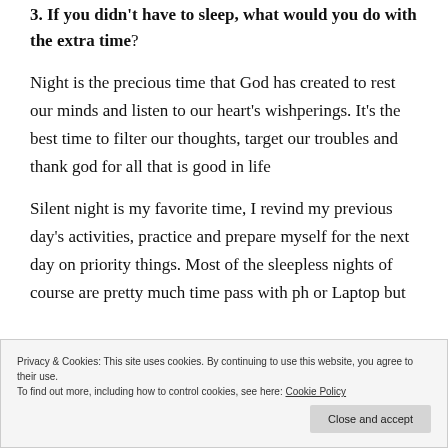3. If you didn't have to sleep, what would you do with the extra time?
Night is the precious time that God has created to rest our minds and listen to our heart's wishperings. It's the best time to filter our thoughts, target our troubles and thank god for all that is good in life
Silent night is my favorite time, I revind my previous day's activities, practice and prepare myself for the next day on priority things. Most of the sleepless nights of course are pretty much time pass with ph or Laptop but
Privacy & Cookies: This site uses cookies. By continuing to use this website, you agree to their use.
To find out more, including how to control cookies, see here: Cookie Policy